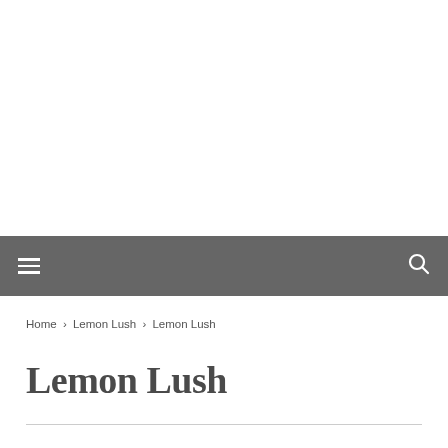Home › Lemon Lush › Lemon Lush
Lemon Lush